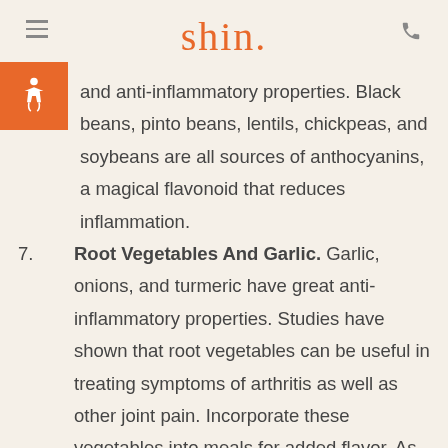shin.
and anti-inflammatory properties. Black beans, pinto beans, lentils, chickpeas, and soybeans are all sources of anthocyanins, a magical flavonoid that reduces inflammation.
7. Root Vegetables And Garlic. Garlic, onions, and turmeric have great anti-inflammatory properties. Studies have shown that root vegetables can be useful in treating symptoms of arthritis as well as other joint pain. Incorporate these vegetables into meals for added flavor. As a bonus, they are also available in a supplement form.